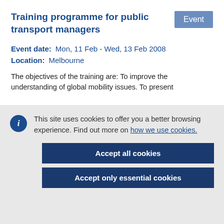Training programme for public transport managers
Event
Event date:   Mon, 11 Feb - Wed, 13 Feb 2008
Location:   Melbourne
The objectives of the training are: To improve the understanding of global mobility issues.  To present
This site uses cookies to offer you a better browsing experience. Find out more on how we use cookies.
Accept all cookies
Accept only essential cookies